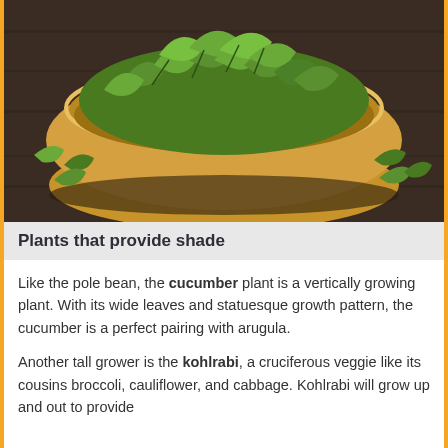[Figure (photo): A wooden bowl filled with fresh green arugula leaves on a dark wooden table, with some arugula leaves scattered around the bowl]
Plants that provide shade
Like the pole bean, the cucumber plant is a vertically growing plant. With its wide leaves and statuesque growth pattern, the cucumber is a perfect pairing with arugula.
Another tall grower is the kohlrabi, a cruciferous veggie like its cousins broccoli, cauliflower, and cabbage. Kohlrabi will grow up and out to provide